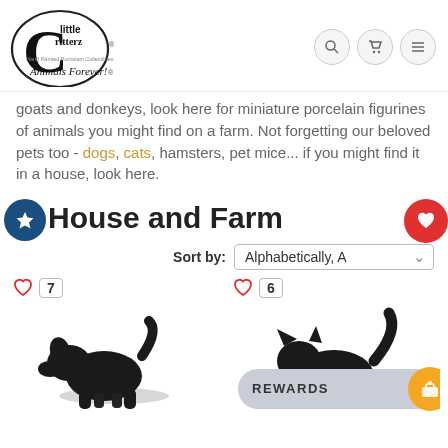[Figure (logo): Little Critterz logo — hand painted porcelain collectibles, Animals Forever!]
goats and donkeys, look here for miniature porcelain figurines of animals you might find on a farm. Not forgetting our beloved pets too - dogs, cats, hamsters, pet mice... if you might find it in a house, look here.
House and Farm
Sort by: Alphabetically, A
[Figure (photo): Black porcelain dog figurine, wishlist heart icon with count 7]
[Figure (photo): Black porcelain cat figurine, wishlist heart icon with count 6, rewards bar overlay]